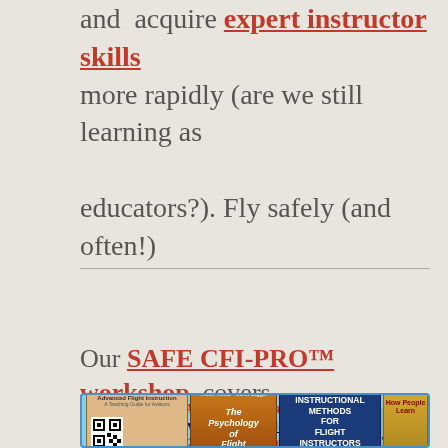and acquire expert instructor skills more rapidly (are we still learning as educators?). Fly safely (and often!)
Our SAFE CFI-PRO™ workshop covers
[Figure (infographic): SAFE CFI-PRO workshop advertisement banner. Light blue background. Text: 'Attention CFI (Aviation Educator)! Learn and grow at SAFE CFI-PRO™ October 2/3 at AOPA Frederick, MD (KFDK) Register NOW! Only $375!' with SAFE logo (circle of stars) and book covers including Advanced Flight Instruction, The Psychology of Flight, Instructional Methods for Flight Instructors, and How People Learn.]